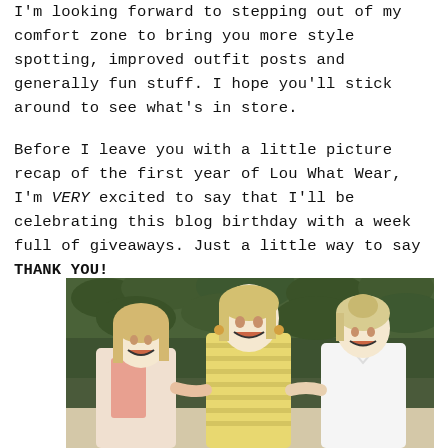I'm looking forward to stepping out of my comfort zone to bring you more style spotting, improved outfit posts and generally fun stuff. I hope you'll stick around to see what's in store.

Before I leave you with a little picture recap of the first year of Lou What Wear, I'm VERY excited to say that I'll be celebrating this blog birthday with a week full of giveaways. Just a little way to say THANK YOU!
[Figure (photo): Three young blonde women smiling and laughing in front of a green leafy background. Left woman wears a pink and beige outfit, center woman wears a yellow striped dress, right woman wears a white dress.]